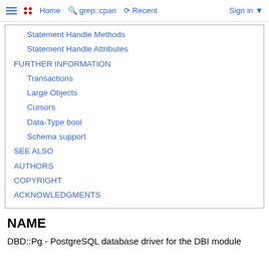Home  grep::cpan  Recent  Sign in
Statement Handle Methods
Statement Handle Attributes
FURTHER INFORMATION
Transactions
Large Objects
Cursors
Data-Type bool
Schema support
SEE ALSO
AUTHORS
COPYRIGHT
ACKNOWLEDGMENTS
NAME
DBD::Pg - PostgreSQL database driver for the DBI module